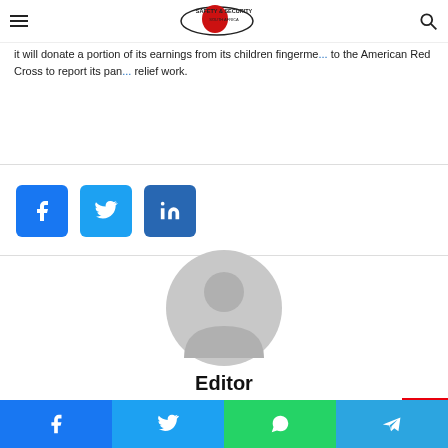Safety & Security South Africa (hamburger menu + logo + search icon)
it will donate a portion of its earnings from its children fingerme... to the American Red Cross to report its pan... relief work.
[Figure (infographic): Social share buttons: Facebook (blue), Twitter (light blue), LinkedIn (darker blue), arranged horizontally in a row]
[Figure (illustration): Default gray avatar/profile icon — circular head and shoulders silhouette on white background]
Editor
Related Articles
[Figure (infographic): Bottom social sharing bar with four buttons: Facebook (blue), Twitter (light blue), WhatsApp (green), Telegram (blue)]